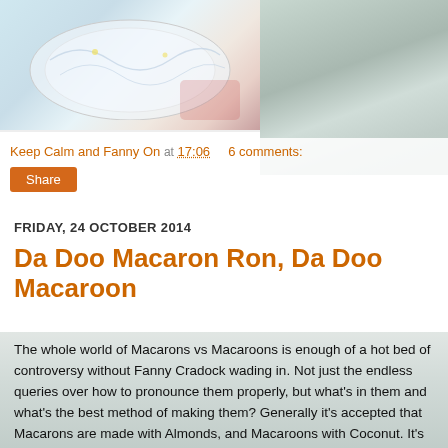[Figure (photo): Top portion of a blog page showing a decorative plate/dish on the left and a blurred grey-green background on the right]
Keep Calm and Fanny On at 17:06   6 comments:
Share
FRIDAY, 24 OCTOBER 2014
Da Doo Macaron Ron, Da Doo Macaroon
The whole world of Macarons vs Macaroons is enough of a hot bed of controversy without Fanny Cradock wading in. Not just the endless queries over how to pronounce them properly, but what's in them and what's the best method of making them? Generally it's accepted that Macarons are made with Almonds, and Macaroons with Coconut. It's seems like a very modern day foodie debate, but Fanny was ahead of the batch back in the 70's, well kind of. She gives two recipes for Macaroons, which she translates into French